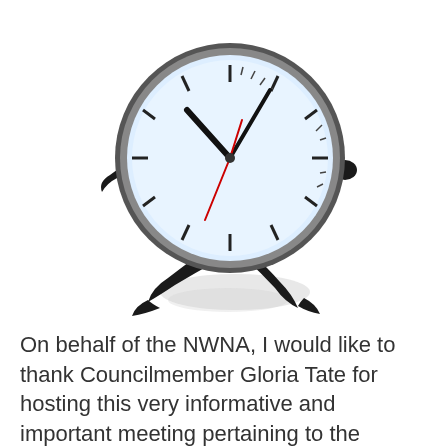[Figure (illustration): A cartoon clock with human-like arms and legs, running. The clock face is light blue with black hour and minute hands and a red second hand, surrounded by a dark gray metallic rim. The arms and legs are black silhouettes. A shadow/reflection appears beneath the figure.]
On behalf of the NWNA, I would like to thank Councilmember Gloria Tate for hosting this very informative and important meeting pertaining to the